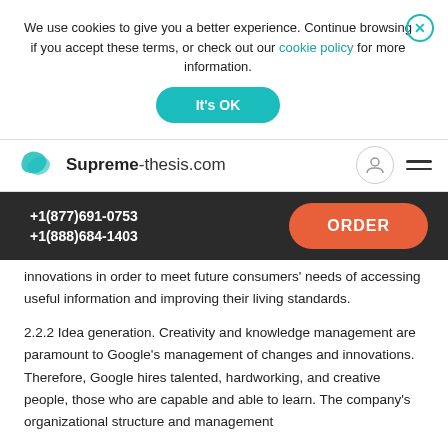We use cookies to give you a better experience. Continue browsing if you accept these terms, or check out our cookie policy for more information.
It's OK
[Figure (logo): Supreme-thesis.com logo with teal arrow icon]
+1(877)691-0753
+1(888)684-1403
ORDER
innovations in order to meet future consumers' needs of accessing useful information and improving their living standards.
2.2.2 Idea generation. Creativity and knowledge management are paramount to Google's management of changes and innovations. Therefore, Google hires talented, hardworking, and creative people, those who are capable and able to learn. The company's organizational structure and management